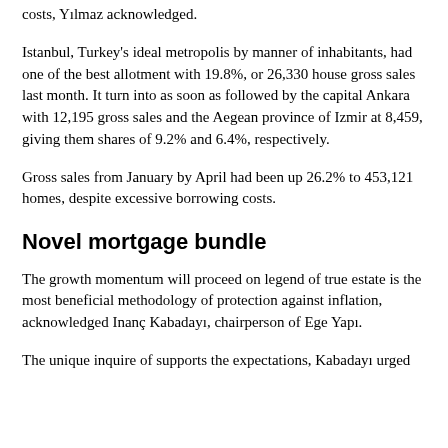costs, Yılmaz acknowledged.
Istanbul, Turkey's ideal metropolis by manner of inhabitants, had one of the best allotment with 19.8%, or 26,330 house gross sales last month. It turn into as soon as followed by the capital Ankara with 12,195 gross sales and the Aegean province of Izmir at 8,459, giving them shares of 9.2% and 6.4%, respectively.
Gross sales from January by April had been up 26.2% to 453,121 homes, despite excessive borrowing costs.
Novel mortgage bundle
The growth momentum will proceed on legend of true estate is the most beneficial methodology of protection against inflation, acknowledged Inanç Kabadayı, chairperson of Ege Yapı.
The unique inquire of supports the expectations, Kabadayı urged